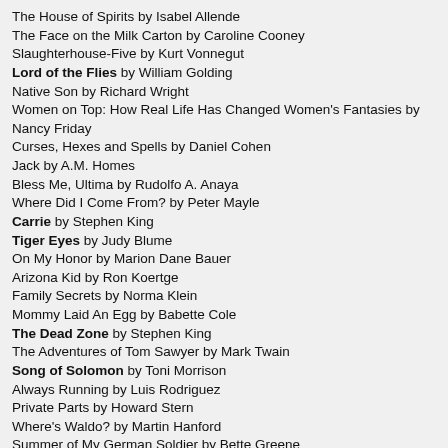The House of Spirits by Isabel Allende
The Face on the Milk Carton by Caroline Cooney
Slaughterhouse-Five by Kurt Vonnegut
Lord of the Flies by William Golding
Native Son by Richard Wright
Women on Top: How Real Life Has Changed Women's Fantasies by Nancy Friday
Curses, Hexes and Spells by Daniel Cohen
Jack by A.M. Homes
Bless Me, Ultima by Rudolfo A. Anaya
Where Did I Come From? by Peter Mayle
Carrie by Stephen King
Tiger Eyes by Judy Blume
On My Honor by Marion Dane Bauer
Arizona Kid by Ron Koertge
Family Secrets by Norma Klein
Mommy Laid An Egg by Babette Cole
The Dead Zone by Stephen King
The Adventures of Tom Sawyer by Mark Twain
Song of Solomon by Toni Morrison
Always Running by Luis Rodriguez
Private Parts by Howard Stern
Where's Waldo? by Martin Hanford
Summer of My German Soldier by Bette Greene
Little Black Sambo by Helen Bannerman